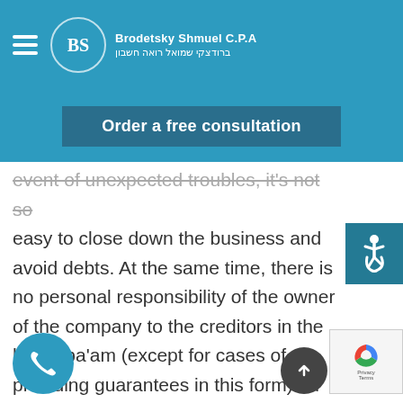Brodetsky Shmuel C.P.A | בродецקי שמואל רואה חשבון
Order a free consultation
event of unexpected troubles, it's not so easy to close down the business and avoid debts. At the same time, there is no personal responsibility of the owner of the company to the creditors in the hevra ba'am (except for cases of providing guarantees in this form). In case of a financial trouble, it is enough to go through bankruptcy proceedings.
Variability of the tax structure of the hevra ba'am and the possibility to